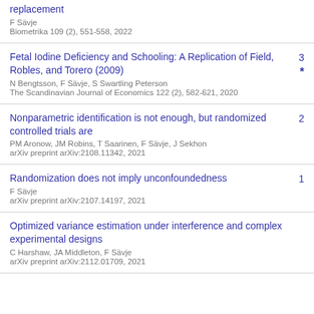replacement
F Sävje
Biometrika 109 (2), 551-558, 2022
Fetal Iodine Deficiency and Schooling: A Replication of Field, Robles, and Torero (2009)
N Bengtsson, F Sävje, S Swartling Peterson
The Scandinavian Journal of Economics 122 (2), 582-621, 2020
Nonparametric identification is not enough, but randomized controlled trials are
PM Aronow, JM Robins, T Saarinen, F Sävje, J Sekhon
arXiv preprint arXiv:2108.11342, 2021
Randomization does not imply unconfoundedness
F Sävje
arXiv preprint arXiv:2107.14197, 2021
Optimized variance estimation under interference and complex experimental designs
C Harshaw, JA Middleton, F Sävje
arXiv preprint arXiv:2112.01709, 2021